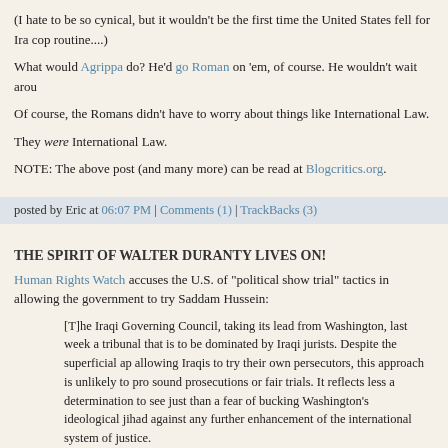(I hate to be so cynical, but it wouldn't be the first time the United States fell for Ira cop routine....)
What would Agrippa do? He'd go Roman on 'em, of course. He wouldn't wait arou
Of course, the Romans didn't have to worry about things like International Law.
They were International Law.
NOTE: The above post (and many more) can be read at Blogcritics.org.
posted by Eric at 06:07 PM | Comments (1) | TrackBacks (3)
THE SPIRIT OF WALTER DURANTY LIVES ON!
Human Rights Watch accuses the U.S. of "political show trial" tactics in allowing the government to try Saddam Hussein:
[T]he Iraqi Governing Council, taking its lead from Washington, last week a tribunal that is to be dominated by Iraqi jurists. Despite the superficial ap allowing Iraqis to try their own persecutors, this approach is unlikely to pro sound prosecutions or fair trials. It reflects less a determination to see just than a fear of bucking Washington's ideological jihad against any further enhancement of the international system of justice.
Jihad?
Political show trials?